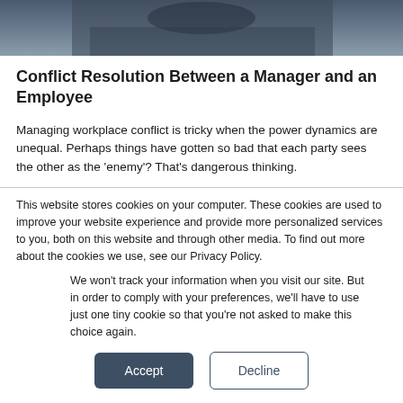[Figure (photo): A blurred background photo showing a dark workspace/office scene, partially visible at the top of the page.]
Conflict Resolution Between a Manager and an Employee
Managing workplace conflict is tricky when the power dynamics are unequal. Perhaps things have gotten so bad that each party sees the other as the 'enemy'? That's dangerous thinking.
This website stores cookies on your computer. These cookies are used to improve your website experience and provide more personalized services to you, both on this website and through other media. To find out more about the cookies we use, see our Privacy Policy.
We won't track your information when you visit our site. But in order to comply with your preferences, we'll have to use just one tiny cookie so that you're not asked to make this choice again.